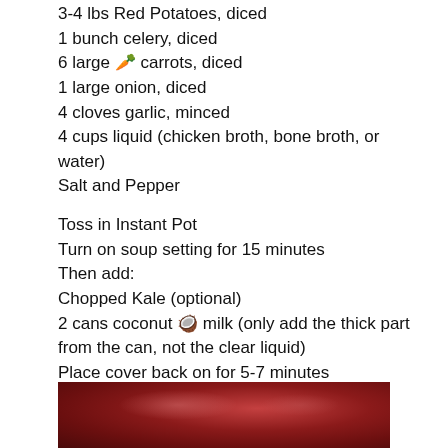3-4 lbs Red Potatoes, diced
1 bunch celery, diced
6 large 🥕 carrots, diced
1 large onion, diced
4 cloves garlic, minced
4 cups liquid (chicken broth, bone broth, or water)
Salt and Pepper
Toss in Instant Pot
Turn on soup setting for 15 minutes
Then add:
Chopped Kale (optional)
2 cans coconut 🥥 milk (only add the thick part from the can, not the clear liquid)
Place cover back on for 5-7 minutes
Once completed, add 3-4 drops of Basil 🌿 Vitality Essential Oil
[Figure (photo): Dark red background photo, possibly a cooked dish or ingredient, showing deep red tones with some lighter highlights]